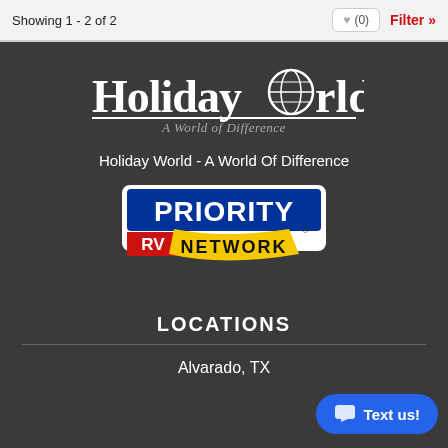Showing 1 - 2 of 2
[Figure (logo): Holiday World logo with globe icon and tagline 'A World of Difference']
Holiday World - A World Of Difference
[Figure (logo): Priority RV Network logo with blue and red banner and yellow ribbon]
LOCATIONS
Alvarado, TX